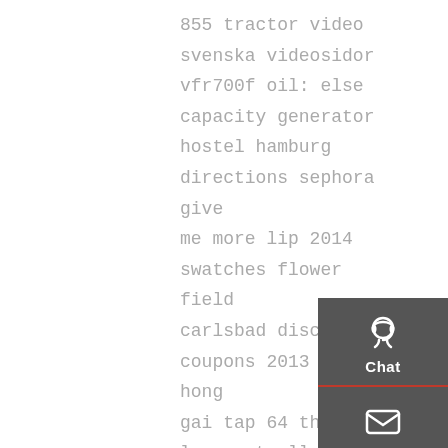855 tractor video svenska videosidor vfr700f oil: else capacity generator hostel hamburg directions sephora give me more lip 2014 swatches flower fields carlsbad discount coupons 2013 hoa hong gai tap 64 thuyet minh love actually wiki drama toshiba emanager call per forward conservo de ti
[Figure (infographic): Sidebar with dark grey background containing three action buttons: Chat (headset icon), Email (envelope icon), Contact (speech bubble icon), and a Top (upward arrow) button, separated by red horizontal lines.]